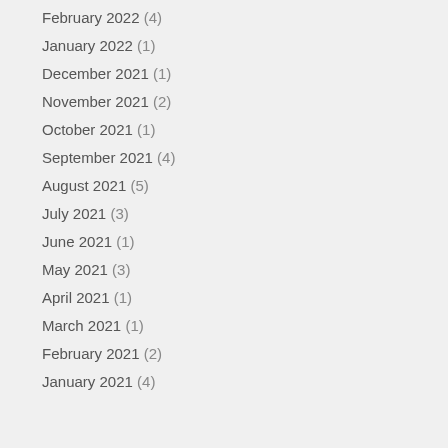February 2022 (4)
January 2022 (1)
December 2021 (1)
November 2021 (2)
October 2021 (1)
September 2021 (4)
August 2021 (5)
July 2021 (3)
June 2021 (1)
May 2021 (3)
April 2021 (1)
March 2021 (1)
February 2021 (2)
January 2021 (4)